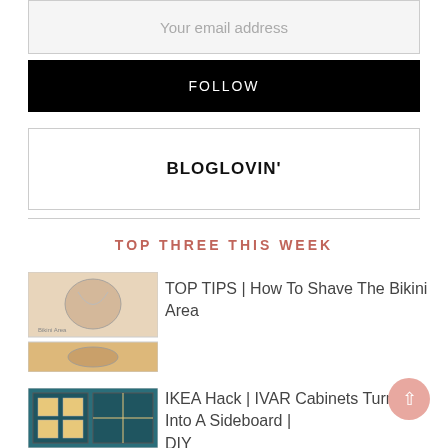Your email address
FOLLOW
BLOGLOVIN'
TOP THREE THIS WEEK
[Figure (illustration): Thumbnail image showing bikini area shaving diagram]
TOP TIPS | How To Shave The Bikini Area
[Figure (photo): Thumbnail image of teal IKEA IVAR cabinet converted to sideboard]
IKEA Hack | IVAR Cabinets Turned Into A Sideboard | DIY